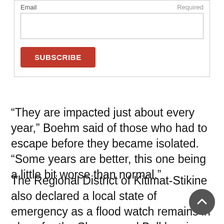Email
Required
SUBSCRIBE
“They are impacted just about every year,” Boehm said of those who had to escape before they became isolated. “Some years are better, this one being a little bit worse than normal.”
The Regional District of Kitimat-Stikine also declared a local state of emergency as a flood watch remains in place for the Skeena and Bulkley rivers from Telkwa and Smithers to Terrace.